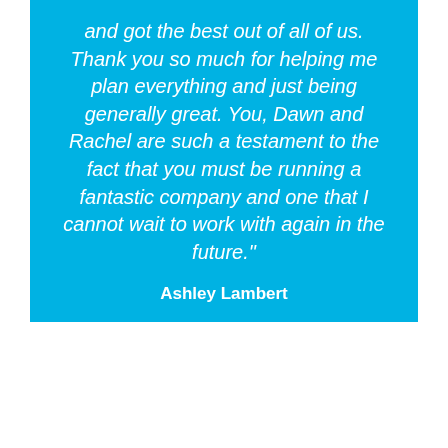and got the best out of all of us. Thank you so much for helping me plan everything and just being generally great. You, Dawn and Rachel are such a testament to the fact that you must be running a fantastic company and one that I cannot wait to work with again in the future."
Ashley Lambert